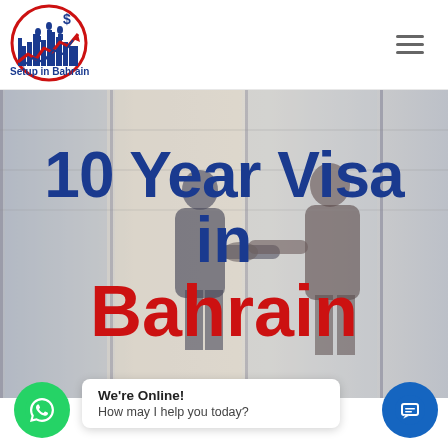[Figure (logo): Setup in Bahrain logo: circular emblem with city skyline, dollar sign, red/blue arrow and chart pattern, text 'Setup in Bahrain' below]
10 Year Visa in Bahrain
[Figure (other): Green WhatsApp phone icon button (circular)]
We're Online!
How may I help you today?
[Figure (other): Blue chat/message icon button (circular)]